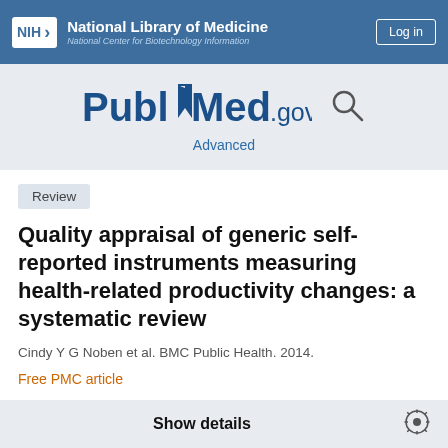NIH | National Library of Medicine | National Center for Biotechnology Information | Log in
[Figure (logo): PubMed.gov logo with bookmark icon, Advanced link, and search icon]
Review
Quality appraisal of generic self-reported instruments measuring health-related productivity changes: a systematic review
Cindy Y G Noben et al. BMC Public Health. 2014.
Free PMC article
Show details